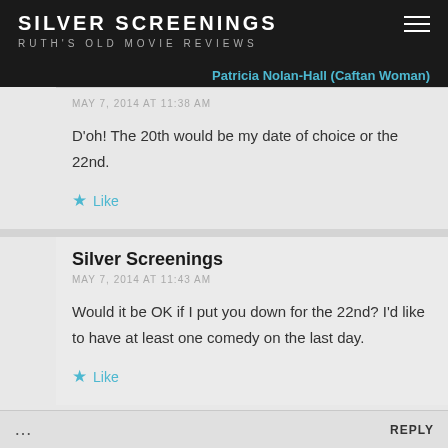SILVER SCREENINGS
RUTH'S OLD MOVIE REVIEWS
Patricia Nolan-Hall (Caftan Woman)
MAY 7, 2014 AT 11:38 AM
D'oh! The 20th would be my date of choice or the 22nd.
Like
Silver Screenings
MAY 7, 2014 AT 11:43 AM
Would it be OK if I put you down for the 22nd? I'd like to have at least one comedy on the last day.
Like
REPLY